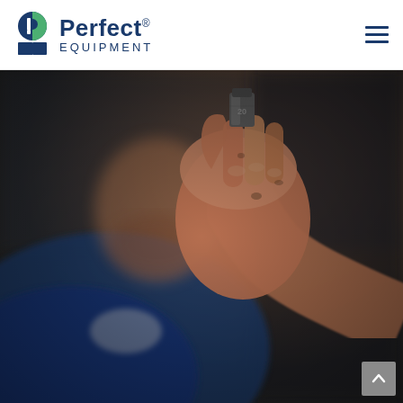[Figure (logo): Perfect Equipment logo: circular icon split into blue and green halves with white P shape, followed by 'Perfect® EQUIPMENT' text in dark navy blue]
[Figure (photo): A mechanic in a blue work uniform holds up a small wheel balance weight (labeled '20') between his fingers toward the camera. The background is blurred showing a dark automotive shop environment. The hand and weight are in sharp focus in the foreground.]